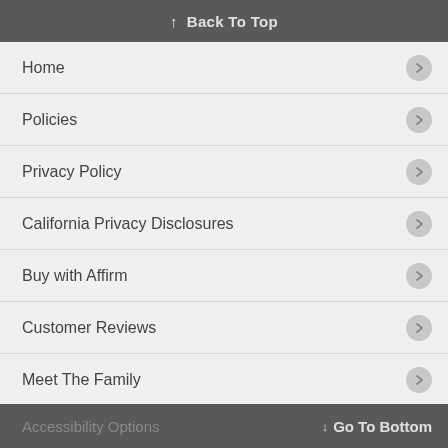↑ Back To Top
Home
Policies
Privacy Policy
California Privacy Disclosures
Buy with Affirm
Customer Reviews
Meet The Family
Career Opportunities
Accessibility Policy
Accessibility Options     ↓  Go To Bottom